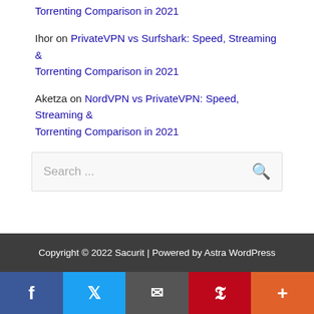Torrenting Comparison in 2021
Ihor on PrivateVPN vs Surfshark: Speed, Streaming & Torrenting Comparison in 2021
Aketza on NordVPN vs PrivateVPN: Speed, Streaming & Torrenting Comparison in 2021
Search ...
Copyright © 2022 Sacurit | Powered by Astra WordPress